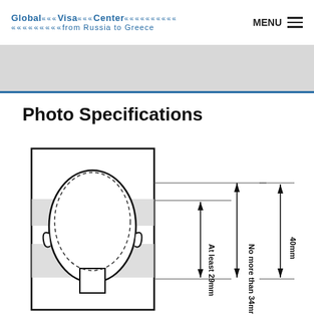Global Visa Center from Russia to Greece | MENU
Photo Specifications
[Figure (illustration): Passport photo specification diagram showing a front-facing human head silhouette with a dashed oval indicating the head zone. Dimension annotations show 'At least 29mm' for head height, 'No more than 34mm' for maximum head height, and '40mm' for total photo height. A rectangular border outlines the photo boundary. Gray shaded bands indicate the eye-level zone on the face.]